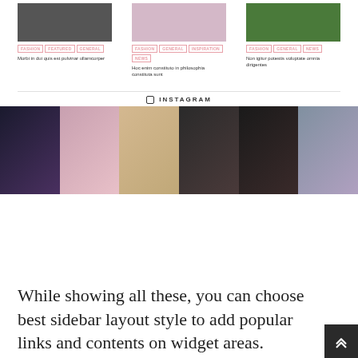[Figure (screenshot): Three blog post cards with images and category tags. Card 1: dark photo with tags FASHION, FEATURED, GENERAL and title 'Morbi in dui quis est pulvinar ullamcorper'. Card 2: pink/white photo with tags FASHION, GENERAL, INSPIRATION, NEWS and title 'Hoc enim constituto in philosophia constituta sunt'. Card 3: green/nature photo with tags FASHION, GENERAL, NEWS and title 'Non igitur potestis voluptate omnia dirigentes'.]
INSTAGRAM
[Figure (photo): Six Instagram photos in a horizontal row: fashion/model photos in various styles.]
[Figure (screenshot): Three widgets side by side: TEXT WIDGET with coding quote text, TAGS widget with pink tag buttons, LATEST TWEETS with a MyThemeShop tweet.]
While showing all these, you can choose best sidebar layout style to add popular links and contents on widget areas. Mythemeshop provides 14 Custom Widgets in this blogging theme so you can add any content on footer and sidebar. Most of